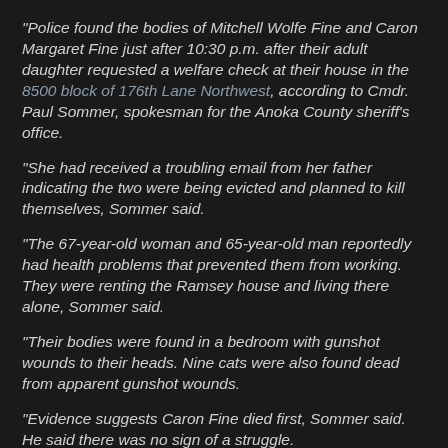"Police found the bodies of Mitchell Wolfe Fine and Caron Margaret Fine just after 10:30 p.m. after their adult daughter requested a welfare check at their house in the 8500 block of 176th Lane Northwest, according to Cmdr. Paul Sommer, spokesman for the Anoka County sheriff's office.
"She had received a troubling email from her father indicating the two were being evicted and planned to kill themselves, Sommer said.
"The 67-year-old woman and 65-year-old man reportedly had health problems that prevented them from working. They were renting the Ramsey house and living there alone, Sommer said.
"Their bodies were found in a bedroom with gunshot wounds to their heads. Nine cats were also found dead from apparent gunshot wounds.
"Evidence suggests Caron Fine died first, Sommer said. He said there was no sign of a struggle.